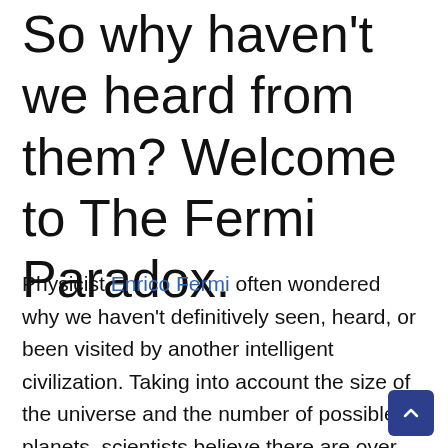So why haven't we heard from them? Welcome to The Fermi Paradox.
Physicist Enrico Fermi often wondered why we haven't definitively seen, heard, or been visited by another intelligent civilization. Taking into account the size of the universe and the number of possible planets, scientists believe there are over 100,000 intelligent alien civilizations in our galaxy alone. Some of these civilizations could be technologically billions of years ahead of us. Aliens that advanced could have spread across the entire galaxy by now.